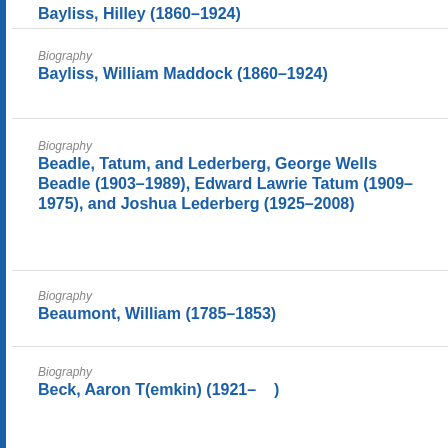Bayliss, Hilley (1860–1924)
Biography
Bayliss, William Maddock (1860–1924)
Biography
Beadle, Tatum, and Lederberg, George Wells Beadle (1903–1989), Edward Lawrie Tatum (1909–1975), and Joshua Lederberg (1925–2008)
Biography
Beaumont, William (1785–1853)
Biography
Beck, Aaron T(emkin) (1921–   )